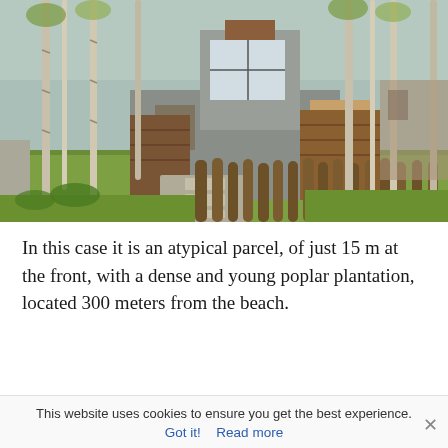[Figure (photo): Modern concrete house among tall birch/poplar trees, with wooden fence posts along the front, a paved walkway approach, and lush green lawn. The house has large glass windows and wooden panel cladding.]
In this case it is an atypical parcel, of just 15 m at the front, with a dense and young poplar plantation, located 300 meters from the beach.
This website uses cookies to ensure you get the best experience.
Got it!  Read more